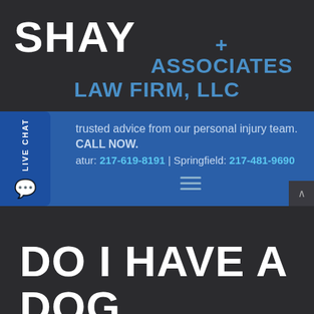SHAY + ASSOCIATES LAW FIRM, LLC
trusted advice from our personal injury team. CALL NOW. Decatur: 217-619-8191 | Springfield: 217-481-9690
[Figure (screenshot): Live Chat tab on left side of blue banner]
DO I HAVE A DOG